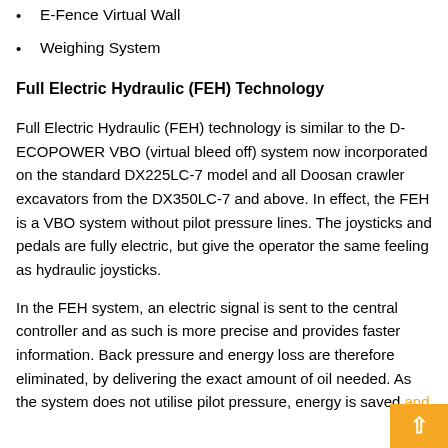E-Fence Virtual Wall
Weighing System
Full Electric Hydraulic (FEH) Technology
Full Electric Hydraulic (FEH) technology is similar to the D-ECOPOWER VBO (virtual bleed off) system now incorporated on the standard DX225LC-7 model and all Doosan crawler excavators from the DX350LC-7 and above. In effect, the FEH is a VBO system without pilot pressure lines. The joysticks and pedals are fully electric, but give the operator the same feeling as hydraulic joysticks.
In the FEH system, an electric signal is sent to the central controller and as such is more precise and provides faster information. Back pressure and energy loss are therefore eliminated, by delivering the exact amount of oil needed. As the system does not utilise pilot pressure, energy is saved and